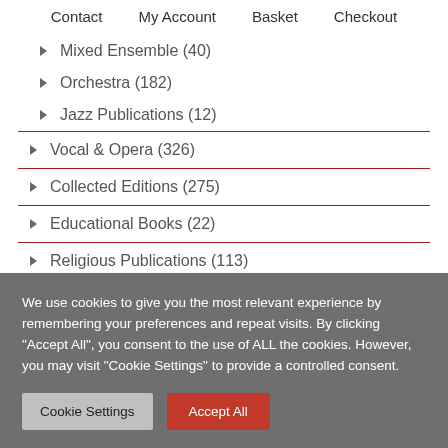Contact   My Account   Basket   Checkout
▶ Mixed Ensemble (40)
▶ Orchestra (182)
▶ Jazz Publications (12)
▶ Vocal & Opera (326)
▶ Collected Editions (275)
▶ Educational Books (22)
▶ Religious Publications (113)
We use cookies to give you the most relevant experience by remembering your preferences and repeat visits. By clicking "Accept All", you consent to the use of ALL the cookies. However, you may visit "Cookie Settings" to provide a controlled consent.
Cookie Settings   Accept All